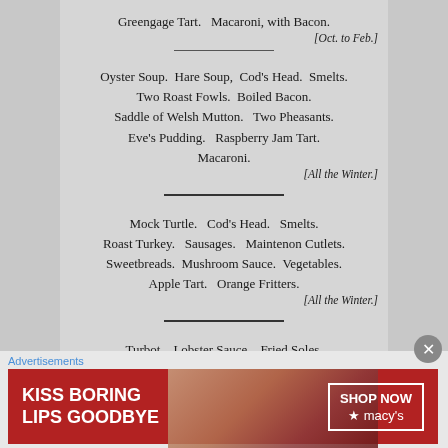Greengage Tart. Macaroni, with Bacon.
[Oct. to Feb.]
Oyster Soup. Hare Soup, Cod's Head. Smelts.
Two Roast Fowls. Boiled Bacon.
Saddle of Welsh Mutton. Two Pheasants.
Eve's Pudding. Raspberry Jam Tart.
Macaroni.
[All the Winter.]
Mock Turtle. Cod's Head. Smelts.
Roast Turkey. Sausages. Maintenon Cutlets.
Sweetbreads. Mushroom Sauce. Vegetables.
Apple Tart. Orange Fritters.
[All the Winter.]
Turbot. Lobster Sauce. Fried Soles.
Shrimp Sauce.
Roast Pig. Oyster Patties. Fricandeau of Veal.
[Figure (photo): Advertisement banner for Macy's cosmetics: 'KISS BORING LIPS GOODBYE' with SHOP NOW button and woman's face with red lipstick]